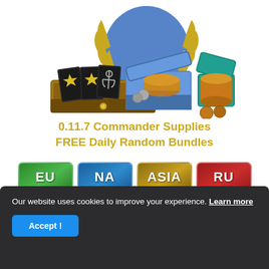[Figure (illustration): Game promotional image showing a wooden tray with star-decorated card packs, a blue coin box with gold coins, a teal box with a coin roll, and a gold laurel wreath shield in the background. Related to World of Warships Commander Supplies.]
0.11.7 Commander Supplies
FREE Daily Random Bundles
[Figure (infographic): Four region selection buttons: EU (green), NA (blue), ASIA (gold/tan), RU (red), each labeled 'Free Rewards']
CLICK ON YOUR REGION
Only During Update 0.11.7
Our website uses cookies to improve your experience. Learn more
Accept !